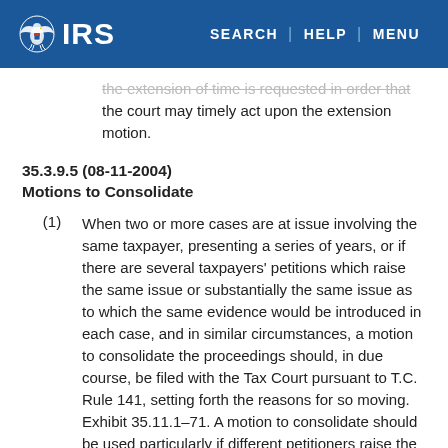IRS | SEARCH | HELP | MENU
the extension of time is requested in order that the court may timely act upon the extension motion.
35.3.9.5 (08-11-2004)
Motions to Consolidate
(1) When two or more cases are at issue involving the same taxpayer, presenting a series of years, or if there are several taxpayers' petitions which raise the same issue or substantially the same issue as to which the same evidence would be introduced in each case, and in similar circumstances, a motion to consolidate the proceedings should, in due course, be filed with the Tax Court pursuant to T.C. Rule 141, setting forth the reasons for so moving. Exhibit 35.11.1–71. A motion to consolidate should be used particularly if different petitioners raise the tax effect of a transaction to which they